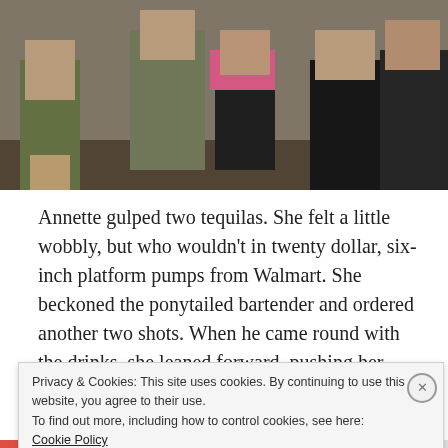[Figure (photo): Outdoor beach or boardwalk scene showing a crowd of people in summer clothing including a woman in a pink bikini top and black shorts with arms raised, surrounded by others in casual beachwear]
Annette gulped two tequilas. She felt a little wobbly, but who wouldn't in twenty dollar, six-inch platform pumps from Walmart. She beckoned the ponytailed bartender and ordered another two shots. When he came round with the drinks, she leaned forward, pushing her breasts
Privacy & Cookies: This site uses cookies. By continuing to use this website, you agree to their use.
To find out more, including how to control cookies, see here: Cookie Policy
Close and accept